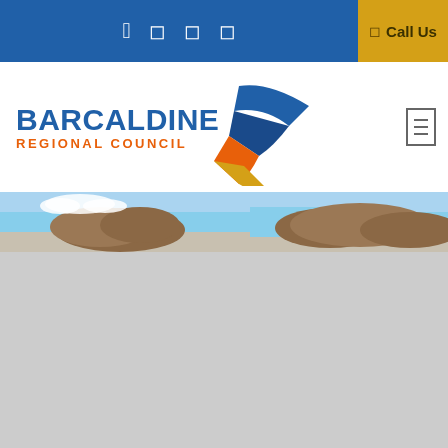Social media icons and Call Us navigation bar
[Figure (logo): Barcaldine Regional Council logo with blue text 'BARCALDINE' and orange text 'REGIONAL COUNCIL' with a stylized fan of blue, orange and yellow stripes]
[Figure (photo): Partial hero image showing rocky outcrops and landscape under a blue sky, partially visible at top of content area]